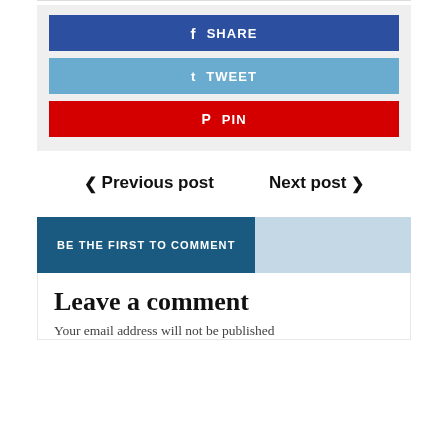[Figure (other): Social share buttons: SHARE (blue/Facebook), TWEET (light blue/Twitter), PIN (red/Pinterest)]
< Previous post
Next post >
BE THE FIRST TO COMMENT
Leave a comment
Your email address will not be published